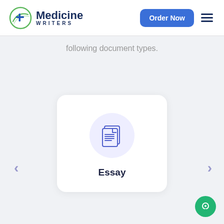[Figure (logo): Medicine Writers logo with green circular plus icon and dark blue text]
Order Now
following document types.
[Figure (illustration): Card with document/essay icon in a light purple circle, labeled 'Essay']
Essay